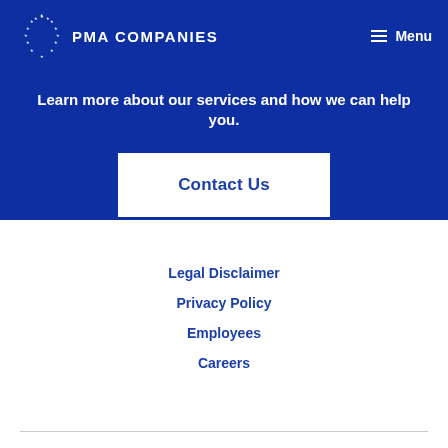[Figure (logo): PMA Companies logo with star circle and bold text]
Menu
Learn more about our services and how we can help you.
Contact Us
Legal Disclaimer
Privacy Policy
Employees
Careers